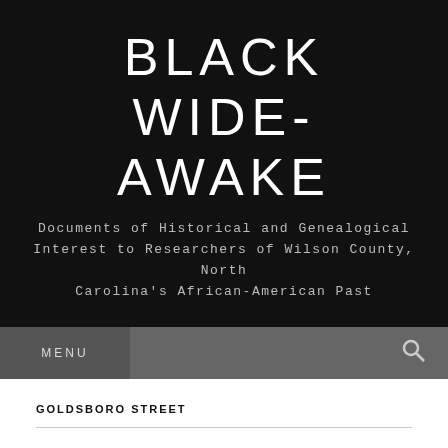BLACK WIDE-AWAKE
Documents of Historical and Genealogical Interest to Researchers of Wilson County, North Carolina's African-American Past
MENU
GOLDSBORO STREET
CONJURE MAN ARRESTED.
[Figure (photo): Bottom edge of a black and white historical photograph]